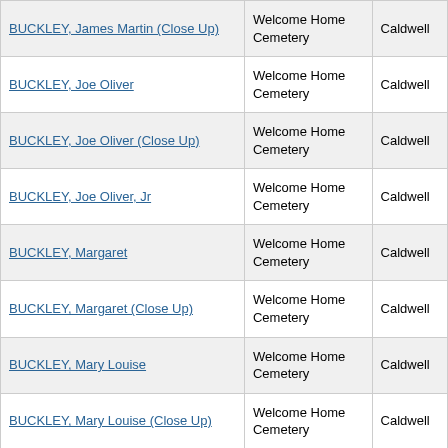| BUCKLEY, James Martin (Close Up) | Welcome Home Cemetery | Caldwell |
| BUCKLEY, Joe Oliver | Welcome Home Cemetery | Caldwell |
| BUCKLEY, Joe Oliver (Close Up) | Welcome Home Cemetery | Caldwell |
| BUCKLEY, Joe Oliver, Jr | Welcome Home Cemetery | Caldwell |
| BUCKLEY, Margaret | Welcome Home Cemetery | Caldwell |
| BUCKLEY, Margaret (Close Up) | Welcome Home Cemetery | Caldwell |
| BUCKLEY, Mary Louise | Welcome Home Cemetery | Caldwell |
| BUCKLEY, Mary Louise (Close Up) | Welcome Home Cemetery | Caldwell |
| BUCKLEY, Verna Lacelle | Welcome Home Cemetery | Caldwell |